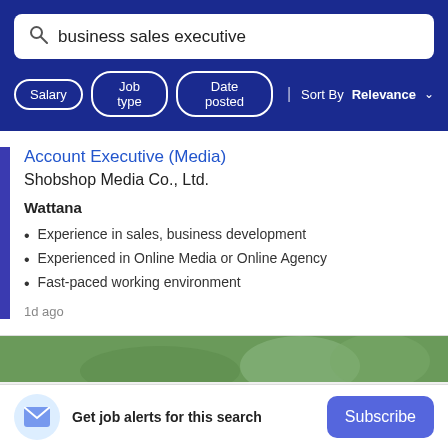business sales executive
Salary  Job type  Date posted  | Sort By Relevance
Account Executive (Media)
Shobshop Media Co., Ltd.
Wattana
Experience in sales, business development
Experienced in Online Media or Online Agency
Fast-paced working environment
1d ago
[Figure (photo): Partial photo strip showing outdoor scene with people]
Get job alerts for this search